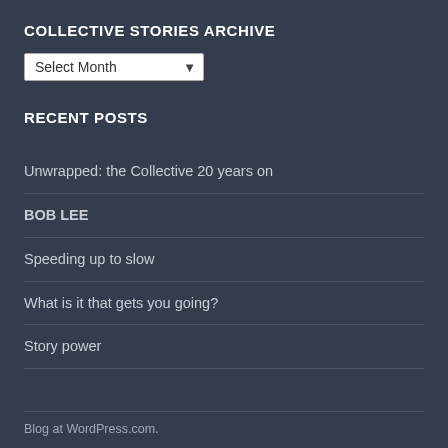COLLECTIVE STORIES ARCHIVE
Select Month
RECENT POSTS
Unwrapped: the Collective 20 years on
BOB LEE
Speeding up to slow
What is it that gets you going?
Story power
Blog at WordPress.com.